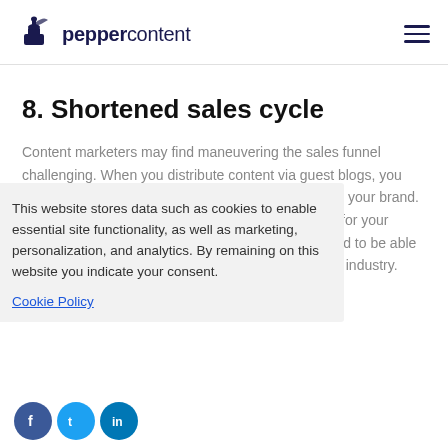peppercontent
8. Shortened sales cycle
Content marketers may find maneuvering the sales funnel challenging. When you distribute content via guest blogs, you also build the target audience familiarizing itself with your brand. In turn, it helps establish the credibility of the brand for your products and services. To do this, however, you need to be able to pick the most relevant and trending topics in your industry.
This website stores data such as cookies to enable essential site functionality, as well as marketing, personalization, and analytics. By remaining on this website you indicate your consent.
Cookie Policy